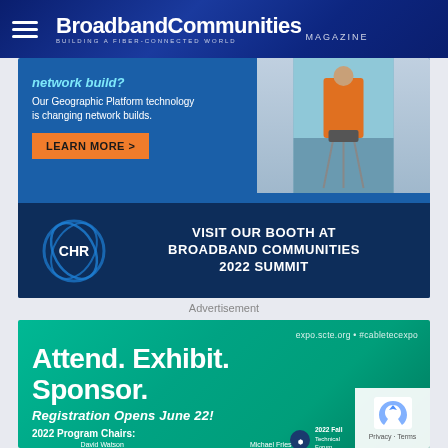BroadbandCommunities MAGAZINE — BUILDING A FIBER-CONNECTED WORLD
[Figure (photo): CHR advertisement: Geographic Platform technology changing network builds. LEARN MORE > button. Worker in orange safety vest using surveying equipment. Bottom section: VISIT OUR BOOTH AT BROADBAND COMMUNITIES 2022 SUMMIT]
Advertisement
[Figure (photo): SCTE CableTEC Expo advertisement: expo.scte.org • #cabletecexpo. Attend. Exhibit. Sponsor. Registration Opens June 22! 2022 Program Chairs: 2022 Fall Technical Forum. David Watson. Michael Fries.]